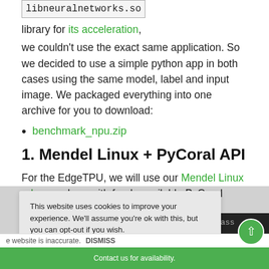libneuralnetworks.so library for its acceleration, we couldn't use the exact same application. So we decided to use a simple python app in both cases using the same model, label and input image. We packaged everything into one archive for you to download:
benchmark_npu.zip
1. Mendel Linux + PyCoral API
For the EdgeTPU, we will use our Mendel Linux release. along with freely available PyCoral examples:
[Figure (screenshot): Cookie consent overlay with text: 'This website uses cookies to improve your experience. We'll assume you're ok with this, but you can opt-out if you wish.' and an ACCEPT button. Behind it, a partial dark code block showing '/on/examples/class' and a green footer bar with text about website inaccuracy and DISMISS link.]